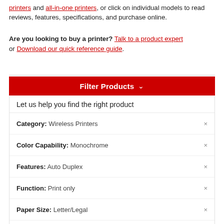printers and all-in-one printers, or click on individual models to read reviews, features, specifications, and purchase online.
Are you looking to buy a printer? Talk to a product expert or Download our quick reference guide.
Filter Products ∨
Let us help you find the right product
Category: Wireless Printers
Color Capability: Monochrome
Features: Auto Duplex
Function: Print only
Paper Size: Letter/Legal
Print Speed: Over 40 pages/min
Usage: Workgroup